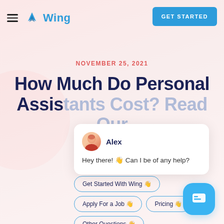Wing — GET STARTED
NOVEMBER 25, 2021
How Much Do Personal Assistants Cost? Read Our
[Figure (screenshot): Chat popup with agent avatar (Alex) and message: Hey there! 👋 Can I be of any help? With buttons: Get Started With Wing 👋, Apply For a Job 👋, Pricing 👋, Other Questions 👋]
[Figure (other): Blue rounded chat bubble FAB button in bottom right corner]